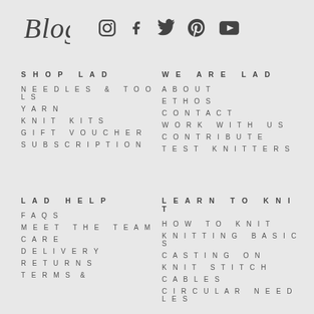[Figure (logo): Blog text logo in italic script]
[Figure (other): Social media icons: Instagram, Facebook, Twitter, Pinterest, YouTube]
SHOP LAD
NEEDLES & TOOLS
YARN
KNIT KITS
GIFT VOUCHER
SUBSCRIPTION
WE ARE LAD
ABOUT
ETHOS
CONTACT
WORK WITH US
CONTRIBUTE
TEST KNITTERS
LAD HELP
FAQS
MEET THE TEAM
CARE
DELIVERY
RETURNS
TERMS &
LEARN TO KNIT
HOW TO KNIT
KNITTING BASICS
CASTING ON
KNIT STITCH
CABLES
CIRCULAR NEEDLES